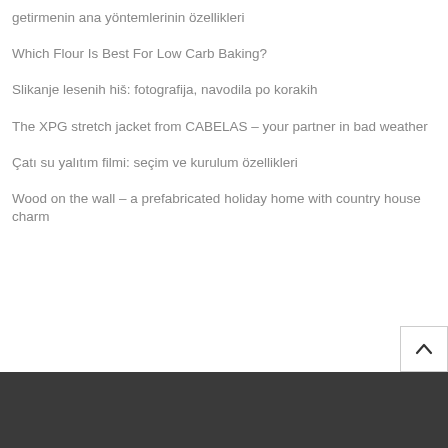getirmenin ana yöntemlerinin özellikleri
Which Flour Is Best For Low Carb Baking?
Slikanje lesenih hiš: fotografija, navodila po korakih
The XPG stretch jacket from CABELAS – your partner in bad weather
Çatı su yalıtım filmi: seçim ve kurulum özellikleri
Wood on the wall – a prefabricated holiday home with country house charm
[Figure (other): Back-to-top button with upward chevron arrow]
85 63 30 ↗